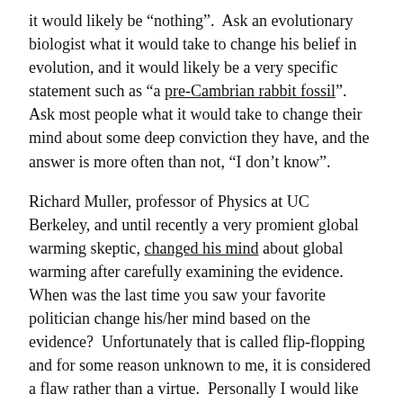it would likely be “nothing”.  Ask an evolutionary biologist what it would take to change his belief in evolution, and it would likely be a very specific statement such as “a pre-Cambrian rabbit fossil”. Ask most people what it would take to change their mind about some deep conviction they have, and the answer is more often than not, “I don’t know”.
Richard Muller, professor of Physics at UC Berkeley, and until recently a very promient global warming skeptic, changed his mind about global warming after carefully examining the evidence.  When was the last time you saw your favorite politician change his/her mind based on the evidence?  Unfortunately that is called flip-flopping and for some reason unknown to me, it is considered a flaw rather than a virtue.  Personally I would like my representative to change his or her mind as soon as evidence becomes available, as often as needed.